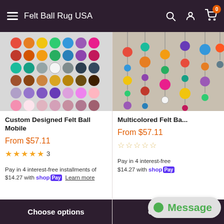Felt Ball Rug USA
[Figure (photo): Felt ball color chart showing rows of colorful felt balls on white background]
Custom Designed Felt Ball Mobile
From $57.11
★★★★★ 3
Pay in 4 interest-free installments of $14.27 with Shop Pay Learn more
Choose options
[Figure (photo): Multicolored felt ball mobile hanging with string, colorful balls in various sizes]
Multicolored Felt Ba...
From $57.11
☆☆☆☆☆
Pay in 4 interest-free installments of $14.27 with Shop Pay
Choose options
Message